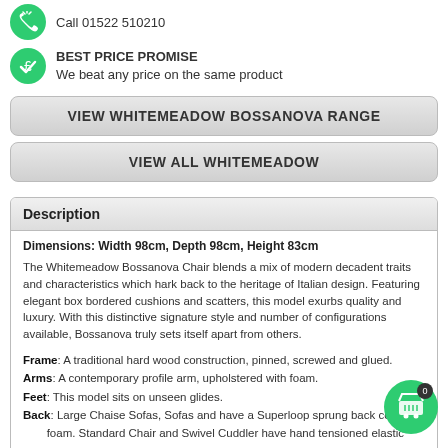Call 01522 510210
BEST PRICE PROMISE
We beat any price on the same product
VIEW WHITEMEADOW BOSSANOVA RANGE
VIEW ALL WHITEMEADOW
Description
Dimensions: Width 98cm, Depth 98cm, Height 83cm
The Whitemeadow Bossanova Chair blends a mix of modern decadent traits and characteristics which hark back to the heritage of Italian design. Featuring elegant box bordered cushions and scatters, this model exurbs quality and luxury. With this distinctive signature style and number of configurations available, Bossanova truly sets itself apart from others.
Frame: A traditional hard wood construction, pinned, screwed and glued.
Arms: A contemporary profile arm, upholstered with foam.
Feet: This model sits on unseen glides.
Back: Large Chaise Sofas, Sofas and have a Superloop sprung back covered with foam. Standard Chair and Swivel Cuddler have hand tensioned elastic webbing covered with foam.